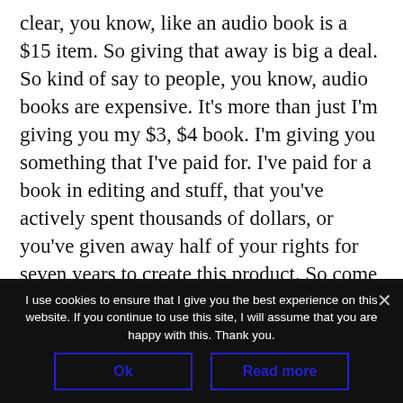clear, you know, like an audio book is a $15 item. So giving that away is big a deal. So kind of say to people, you know, audio books are expensive. It's more than just I'm giving you my $3, $4 book. I'm giving you something that I've paid for. I've paid for a book in editing and stuff, that you've actively spent thousands of dollars, or you've given away half of your rights for seven years to create this product. So come on guys. I'm passionate about this. Give me your review.
I use cookies to ensure that I give you the best experience on this website. If you continue to use this site, I will assume that you are happy with this. Thank you.
Ok
Read more